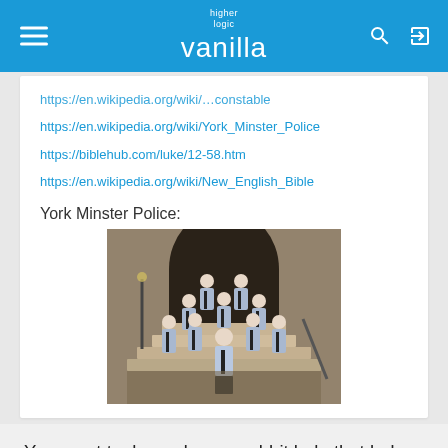higher logic vanilla
https://en.wikipedia.org/wiki/York_Minster_Police
https://biblehub.com/luke/12-58.htm
https://en.wikipedia.org/wiki/New_English_Bible
York Minster Police:
[Figure (photo): Group photo of York Minster Police officers in light blue shirts and black ties standing on stone steps in front of an archway]
Your post took me down a rabbit hole that led me to discover that there is an office of state called the Chief